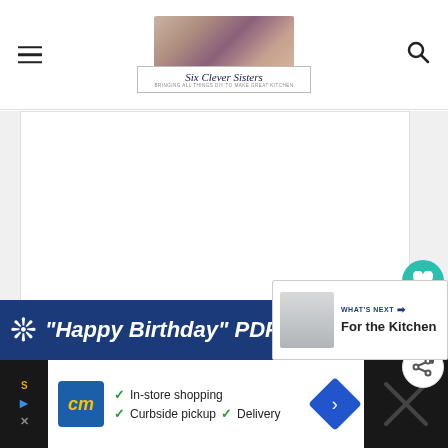[Figure (screenshot): Website header for 'Six Clever Sisters' blog with hamburger menu icon on the left, site logo/photo in center showing six women, and search icon on the right]
[Figure (screenshot): White rectangular content area on light gray background, representing a blog page body area]
[Figure (infographic): Floating social buttons on right side: teal heart/favorite button, count showing 6, and share button]
[Figure (screenshot): Blue banner advertisement strip reading '"Happy Birthday" PDF click do...' with snowflake icon]
[Figure (screenshot): WHAT'S NEXT card overlay showing thumbnail and text 'For the Kitchen']
[Figure (screenshot): Bottom advertisement bar with CM logo, In-store shopping, Curbside pickup, Delivery options with navigation arrow icon]